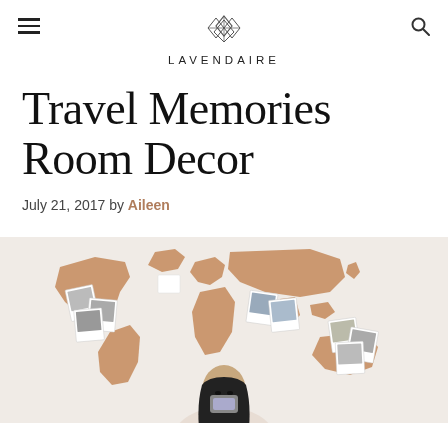LAVENDAIRE
Travel Memories Room Decor
July 21, 2017 by Aileen
[Figure (photo): A person holding a phone in front of a cork world map on a white wall, with polaroid photos pinned to various continents on the map.]